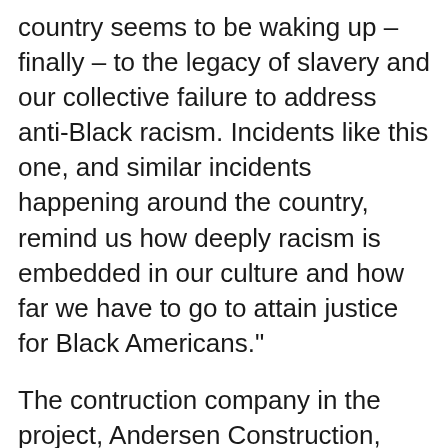country seems to be waking up – finally – to the legacy of slavery and our collective failure to address anti-Black racism. Incidents like this one, and similar incidents happening around the country, remind us how deeply racism is embedded in our culture and how far we have to go to attain justice for Black Americans."
The contruction company in the project, Andersen Construction, notified the four partners on June 6, according to their statement. It's not clear why there was a time lag. The statement said Andersen notified Portland police, launched an investigation and provided support to affected workers. Andersen Construction's risk manager did not